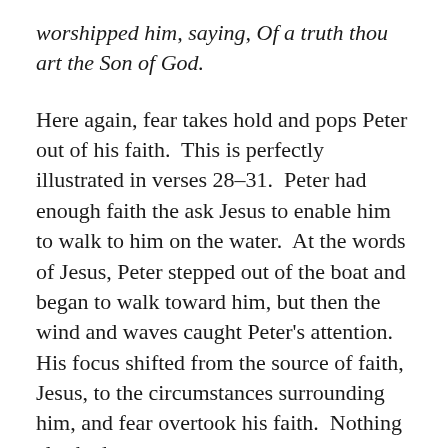worshipped him, saying, Of a truth thou art the Son of God.
Here again, fear takes hold and pops Peter out of his faith.  This is perfectly illustrated in verses 28–31.  Peter had enough faith the ask Jesus to enable him to walk to him on the water.  At the words of Jesus, Peter stepped out of the boat and began to walk toward him, but then the wind and waves caught Peter's attention.  His focus shifted from the source of faith, Jesus, to the circumstances surrounding him, and fear overtook his faith.  Nothing else had